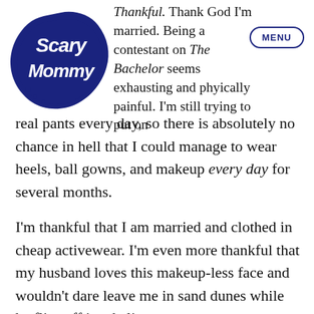[Figure (logo): Scary Mommy logo — stylized circular badge in dark navy blue with cursive text 'Scary Mommy']
MENU
Thankful. Thank God I'm married. Being a contestant on The Bachelor seems exhausting and physically painful. I'm still trying to put on real pants every day, so there is absolutely no chance in hell that I could manage to wear heels, ball gowns, and makeup every day for several months.

I'm thankful that I am married and clothed in cheap activewear. I'm even more thankful that my husband loves this makeup-less face and wouldn't dare leave me in sand dunes while he flies off in a helicopter.

Because. I didn't come here to make friends, and I...